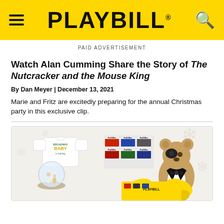PLAYBILL
PAID ADVERTISEMENT
Watch Alan Cumming Share the Story of The Nutcracker and the Mouse King
By Dan Meyer | December 13, 2021
Marie and Fritz are excitedly preparing for the annual Christmas party in this exclusive clip.
[Figure (photo): Promotional image for Playbill merchandise showing a Broadway Baby onesie, a snowglobe, a set of Playbill magazines, and a teddy bear dressed in a tuxedo with a large gold bow, on a white snowflake background.]